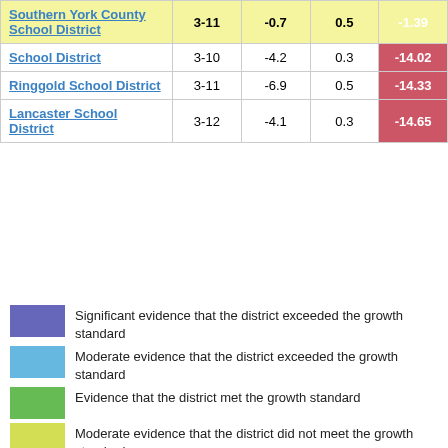| District | Grades | Avg Growth | Weight | Score |
| --- | --- | --- | --- | --- |
| Southern York County School District | 3-11 | -0.7 | 0.5 | -1.39 |
| [School] District | 3-10 | -4.2 | 0.3 | -14.02 |
| Ringgold School District | 3-11 | -6.9 | 0.5 | -14.33 |
| Lancaster School District | 3-12 | -4.1 | 0.3 | -14.65 |
Significant evidence that the district exceeded the growth standard
Moderate evidence that the district exceeded the growth standard
Evidence that the district met the growth standard
Moderate evidence that the district did not meet the growth standard